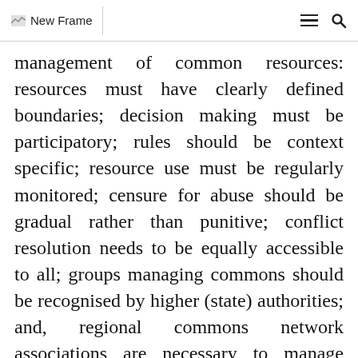New Frame
management of common resources: resources must have clearly defined boundaries; decision making must be participatory; rules should be context specific; resource use must be regularly monitored; censure for abuse should be gradual rather than punitive; conflict resolution needs to be equally accessible to all; groups managing commons should be recognised by higher (state) authorities; and, regional commons network associations are necessary to manage geographically spread commons such as rivers or oceans.